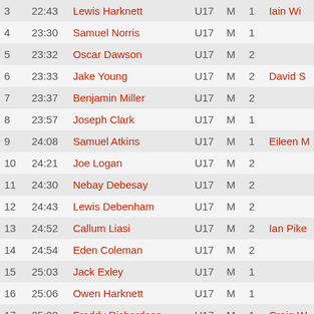| Pos | Time | Name | Cat | G | # | Coach |
| --- | --- | --- | --- | --- | --- | --- |
| 3 | 22:43 | Lewis Harknett | U17 | M | 1 | Iain Wi... |
| 4 | 23:30 | Samuel Norris | U17 | M | 1 |  |
| 5 | 23:32 | Oscar Dawson | U17 | M | 2 |  |
| 6 | 23:33 | Jake Young | U17 | M | 2 | David S... |
| 7 | 23:37 | Benjamin Miller | U17 | M | 2 |  |
| 8 | 23:57 | Joseph Clark | U17 | M | 1 |  |
| 9 | 24:08 | Samuel Atkins | U17 | M | 1 | Eileen M... |
| 10 | 24:21 | Joe Logan | U17 | M | 2 |  |
| 11 | 24:30 | Nebay Debesay | U17 | M | 2 |  |
| 12 | 24:43 | Lewis Debenham | U17 | M | 2 |  |
| 13 | 24:52 | Callum Liasi | U17 | M | 2 | Ian Pike... |
| 14 | 24:54 | Eden Coleman | U17 | M | 2 |  |
| 15 | 25:03 | Jack Exley | U17 | M | 1 |  |
| 16 | 25:06 | Owen Harknett | U17 | M | 1 |  |
| 17 | 25:08 | Freddy Richardson | U17 | M | 1 | Craig W... |
| 18 | 25:08 | Thomas Stuttle | U17 | M | 1 | Keith Pa... |
| 19 | 25:20 | Jack Rice | U17 | M | 1 | Patrick... |
| 20 | 25:27 | Matthew Norris | U17 | M | 2 |  |
| 21 | 25:40 | Drew Olley | U17 | M | 2 |  |
| 22 | 25:49 | Oliver Randall | U17 | M | 1 |  |
| 23 | 26:12 | Harry Smith | U17 | M | 1 | Ron Da... |
| 24 | 26:24 | Matthew Houchell | U17 | M | 1 |  |
| 25 | 26:41 | Luke Gill | U17 | M | 1 |  |